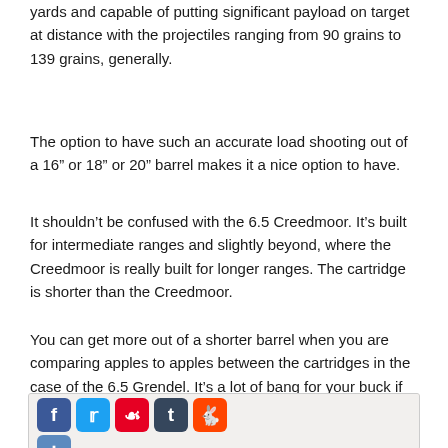yards and capable of putting significant payload on target at distance with the projectiles ranging from 90 grains to 139 grains, generally.
The option to have such an accurate load shooting out of a 16” or 18” or 20” barrel makes it a nice option to have.
It shouldn’t be confused with the 6.5 Creedmoor. It’s built for intermediate ranges and slightly beyond, where the Creedmoor is really built for longer ranges. The cartridge is shorter than the Creedmoor.
You can get more out of a shorter barrel when you are comparing apples to apples between the cartridges in the case of the 6.5 Grendel. It’s a lot of bang for your buck if you don’t need 850+ yard capabilities.
[Figure (infographic): Social media sharing buttons: Facebook (blue), Twitter (light blue), Pinterest (red), Tumblr (dark blue-gray), Reddit (orange-red), and an Add/share button (blue). Below is a partial photo of people outdoors with trees in background.]